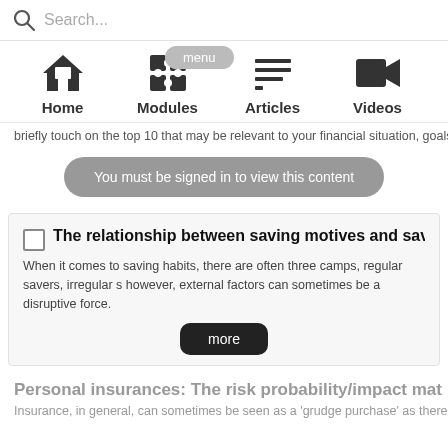Search...
[Figure (screenshot): Navigation bar with Home, Modules, Articles, Videos icons]
briefly touch on the top 10 that may be relevant to your financial situation, goals and ob
You must be signed in to view this content
The relationship between saving motives and saving
When it comes to saving habits, there are often three camps, regular savers, irregular s however, external factors can sometimes be a disruptive force.
more
Personal insurances: The risk probability/impact mat
Insurance, in general, can sometimes be seen as a 'grudge purchase' as there can be a matrix to highlight the value of personal insurances when it comes to managing certain